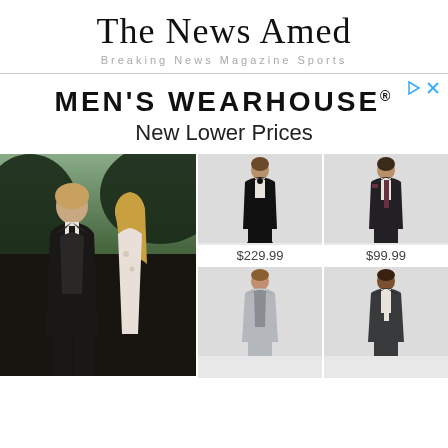The News Amed
Breaking News Magazine Sports
[Figure (advertisement): Men's Wearhouse advertisement banner with brand logo, 'New Lower Prices' tagline, and product images of men in suits. Prices shown: $229.99 and $99.99.]
MEN'S WEARHOUSE® New Lower Prices
$229.99
$99.99